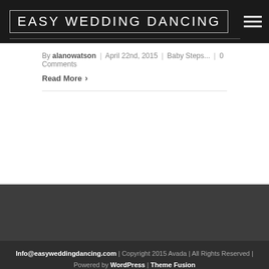EASY WEDDING DANCING
By alanowatson | April 22nd, 2015 | Baby Steps... | 0 Comments
Read More >
Info@easyweddingdancing.com | Copyright 2015 Avada | All Rights Reserved | Powered by WordPress | Theme Fusion